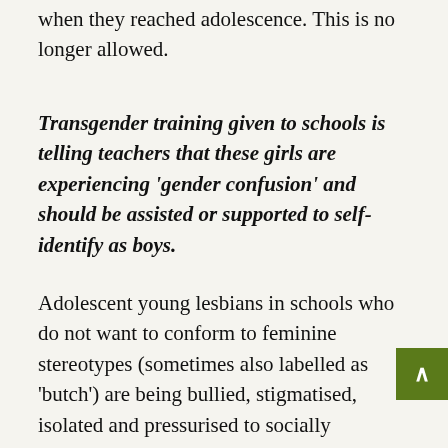when they reached adolescence. This is no longer allowed.
Transgender training given to schools is telling teachers that these girls are experiencing 'gender confusion' and should be assisted or supported to self-identify as boys.
Adolescent young lesbians in schools who do not want to conform to feminine stereotypes (sometimes also labelled as 'butch') are being bullied, stigmatised, isolated and pressurised to socially transition, since being a trans boy is now regarded as a more positive and fashionable identity. They may be encouraged by the school and their peers to wear breast